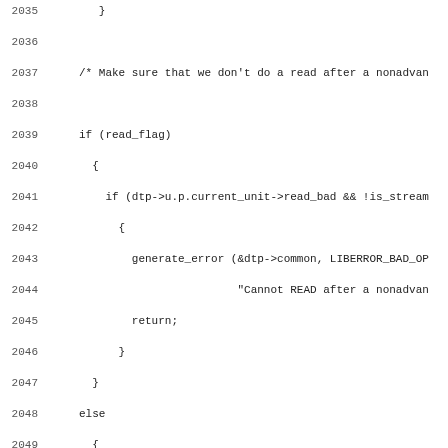[Figure (screenshot): Source code listing in monospace font with line numbers 2035-2066, showing C code for IO transfer handling including read_flag checks, advance_status checks, formatted_transfer calls, and init_loop_spec function declaration.]